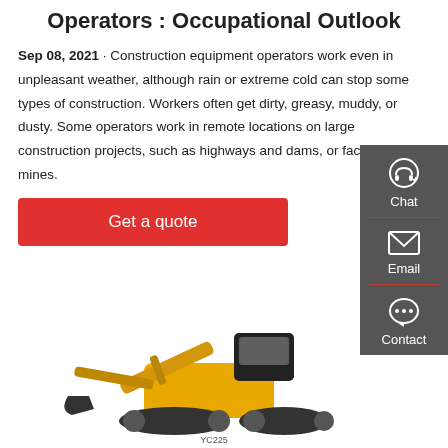Operators : Occupational Outlook
Sep 08, 2021 · Construction equipment operators work even in unpleasant weather, although rain or extreme cold can stop some types of construction. Workers often get dirty, greasy, muddy, or dusty. Some operators work in remote locations on large construction projects, such as highways and dams, or factories or mines.
Get a quote
[Figure (screenshot): Sidebar widget with Chat, Email, Contact icons on dark grey background]
[Figure (photo): Yellow mini excavator construction equipment]